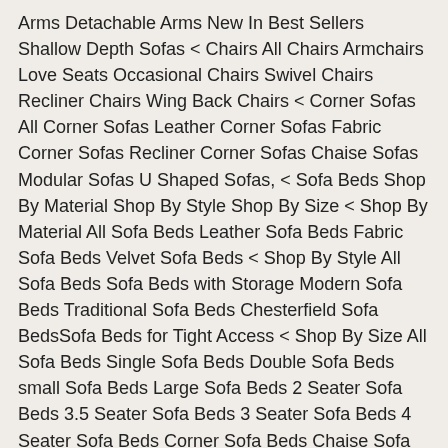Arms Detachable Arms New In Best Sellers Shallow Depth Sofas < Chairs All Chairs Armchairs Love Seats Occasional Chairs Swivel Chairs Recliner Chairs Wing Back Chairs < Corner Sofas All Corner Sofas Leather Corner Sofas Fabric Corner Sofas Recliner Corner Sofas Chaise Sofas Modular Sofas U Shaped Sofas, < Sofa Beds Shop By Material Shop By Style Shop By Size < Shop By Material All Sofa Beds Leather Sofa Beds Fabric Sofa Beds Velvet Sofa Beds < Shop By Style All Sofa Beds Sofa Beds with Storage Modern Sofa Beds Traditional Sofa Beds Chesterfield Sofa BedsSofa Beds for Tight Access < Shop By Size All Sofa Beds Single Sofa Beds Double Sofa Beds small Sofa Beds Large Sofa Beds 2 Seater Sofa Beds 3.5 Seater Sofa Beds 3 Seater Sofa Beds 4 Seater Sofa Beds Corner Sofa Beds Chaise Sofa Beds < Brands All Brands Duresta Sofas Content by Terence Conran Harris Tweed Sofas, < Beds Shop By Type Shop By Size < Shop By Type All Beds